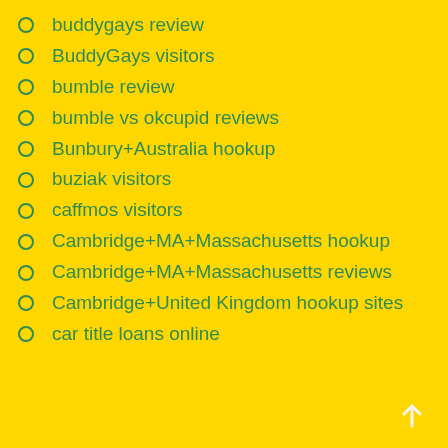buddygays review
BuddyGays visitors
bumble review
bumble vs okcupid reviews
Bunbury+Australia hookup
buziak visitors
caffmos visitors
Cambridge+MA+Massachusetts hookup
Cambridge+MA+Massachusetts reviews
Cambridge+United Kingdom hookup sites
car title loans online